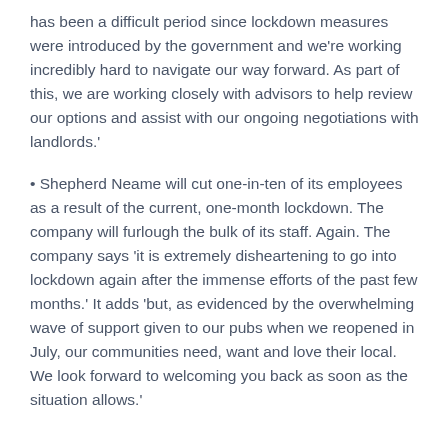has been a difficult period since lockdown measures were introduced by the government and we're working incredibly hard to navigate our way forward. As part of this, we are working closely with advisors to help review our options and assist with our ongoing negotiations with landlords.'
• Shepherd Neame will cut one-in-ten of its employees as a result of the current, one-month lockdown. The company will furlough the bulk of its staff. Again. The company says 'it is extremely disheartening to go into lockdown again after the immense efforts of the past few months.' It adds 'but, as evidenced by the overwhelming wave of support given to our pubs when we reopened in July, our communities need, want and love their local. We look forward to welcoming you back as soon as the situation allows.'